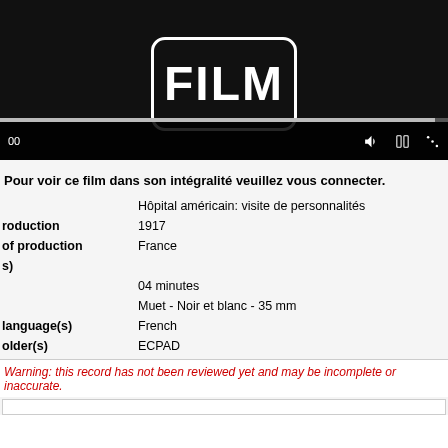[Figure (screenshot): Video player showing a film logo on black background with playback controls at the bottom (time display '00', volume, fullscreen, and more options icons), and a progress bar.]
Pour voir ce film dans son intégralité veuillez vous connecter.
|  | Hôpital américain: visite de personnalités |
| roduction | 1917 |
| of production | France |
| s) |  |
|  | 04 minutes |
|  | Muet - Noir et blanc - 35 mm |
| language(s) | French |
| older(s) | ECPAD |
Warning: this record has not been reviewed yet and may be incomplete or inaccurate.